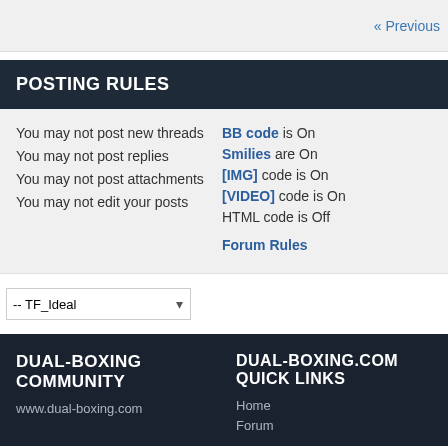« Previous
POSTING RULES
You may not post new threads
You may not post replies
You may not post attachments
You may not edit your posts
BB code is On
Smilies are On
[IMG] code is On
[VIDEO] code is On
HTML code is Off
Forum Rules
-- TF_Ideal
DUAL-BOXING COMMUNITY
www.dual-boxing.com
DUAL-BOXING.COM QUICK LINKS
Home
Forum